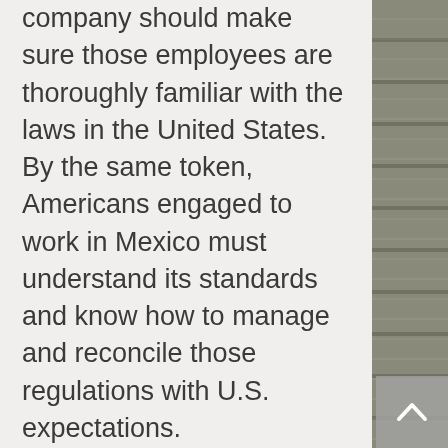company should make sure those employees are thoroughly familiar with the laws in the United States. By the same token, Americans engaged to work in Mexico must understand its standards and know how to manage and reconcile those regulations with U.S. expectations.

Companies also should rethink the allocation of their compliance talent. Most assign the vast majority of compliance resources to regions where regulatory demands are the highest — usually the United States and Europe. But due to cultural norms and the transparency of the rules governing business, the risks in these regions actually are much